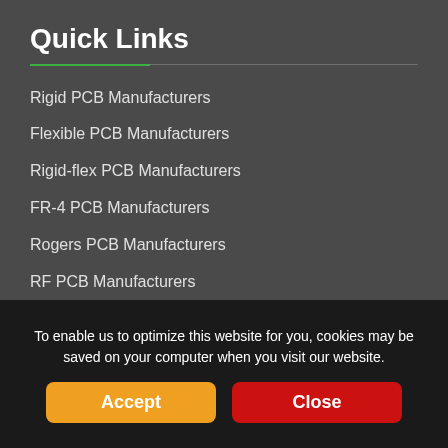Quick Links
Rigid PCB Manufacturers
Flexible PCB Manufacturers
Rigid-flex PCB Manufacturers
FR-4 PCB Manufacturers
Rogers PCB Manufacturers
RF PCB Manufacturers
High Tg PCB Manufacturers
USA PCB Manufacturers
Duroid PCB Manufacturers
Teflon PCB Manufacturers
To enable us to optimize this website for you, cookies may be saved on your computer when you visit our website.
Accept
Close